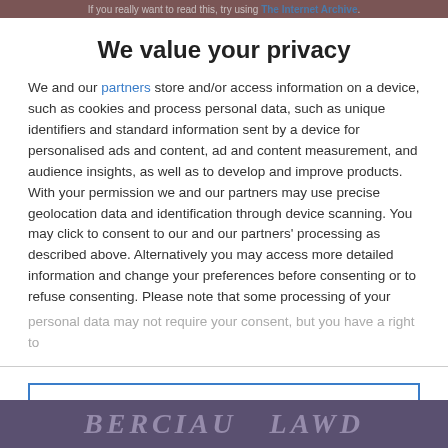If you really want to read this, try using The Internet Archive.
We value your privacy
We and our partners store and/or access information on a device, such as cookies and process personal data, such as unique identifiers and standard information sent by a device for personalised ads and content, ad and content measurement, and audience insights, as well as to develop and improve products. With your permission we and our partners may use precise geolocation data and identification through device scanning. You may click to consent to our and our partners' processing as described above. Alternatively you may access more detailed information and change your preferences before consenting or to refuse consenting. Please note that some processing of your personal data may not require your consent, but you have a right to
AGREE
MORE OPTIONS